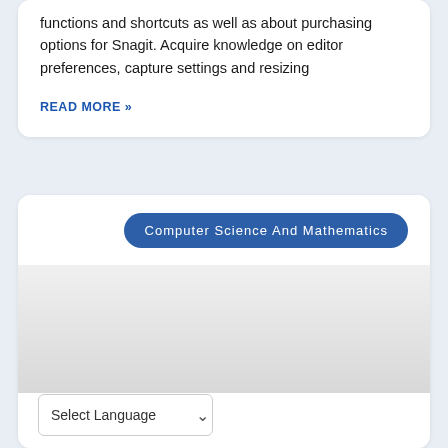functions and shortcuts as well as about purchasing options for Snagit. Acquire knowledge on editor preferences, capture settings and resizing
READ MORE »
Computer Science And Mathematics
[Figure (other): Gray gradient placeholder area inside a white card]
Select Language